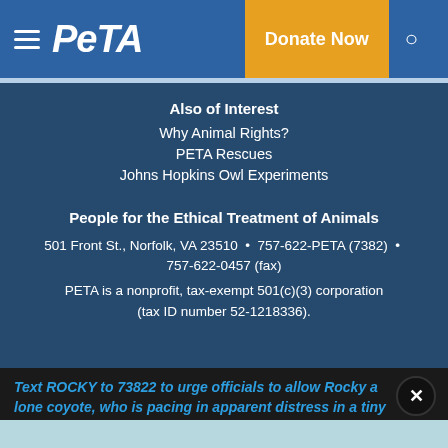PETA
Also of Interest
Why Animal Rights?
PETA Rescues
Johns Hopkins Owl Experiments
People for the Ethical Treatment of Animals
501 Front St., Norfolk, VA 23510  •  757-622-PETA (7382)  •  757-622-0457 (fax)
PETA is a nonprofit, tax-exempt 501(c)(3) corporation (tax ID number 52-1218336).
Text ROCKY to 73822 to urge officials to allow Rocky a lone coyote, who is pacing in apparent distress in a tiny cage, to move to an accredited sanctuary.